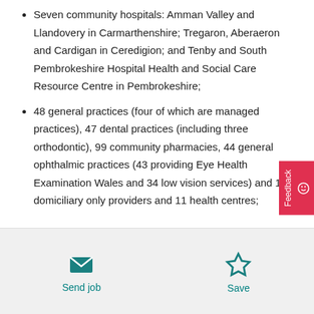Seven community hospitals: Amman Valley and Llandovery in Carmarthenshire; Tregaron, Aberaeron and Cardigan in Ceredigion; and Tenby and South Pembrokeshire Hospital Health and Social Care Resource Centre in Pembrokeshire;
48 general practices (four of which are managed practices), 47 dental practices (including three orthodontic), 99 community pharmacies, 44 general ophthalmic practices (43 providing Eye Health Examination Wales and 34 low vision services) and 17 domiciliary only providers and 11 health centres;